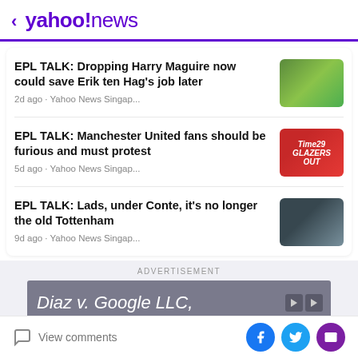< yahoo!news
EPL TALK: Dropping Harry Maguire now could save Erik ten Hag's job later
2d ago · Yahoo News Singap...
EPL TALK: Manchester United fans should be furious and must protest
5d ago · Yahoo News Singap...
EPL TALK: Lads, under Conte, it's no longer the old Tottenham
9d ago · Yahoo News Singap...
ADVERTISEMENT
[Figure (screenshot): Advertisement banner: Diaz v. Google LLC,]
View comments